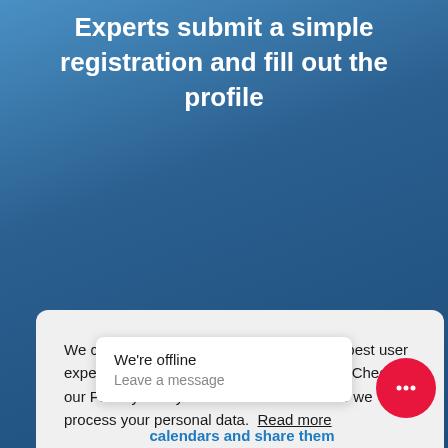Experts submit a simple registration and fill out the profile
We collect cookies to provide you with the best user experience but you can opt out if you wish. Check our Privacy Policy to learn more about how we process your personal data. Read more
Accept all cookies
Functional o
nce
We're offline
Leave a message
calendars and share them